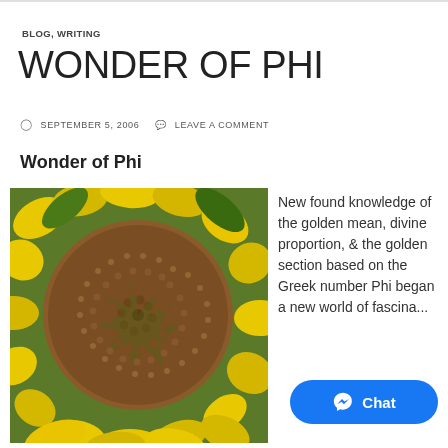BLOG, WRITING
WONDER OF PHI
SEPTEMBER 5, 2006   LEAVE A COMMENT
Wonder of Phi
[Figure (photo): Close-up photograph of a sunflower showing the spiral seed pattern in the center with yellow petals around the edge]
New found knowledge of the golden mean, divine proportion, & the golden section based on the Greek number Phi began a new world of fascina...